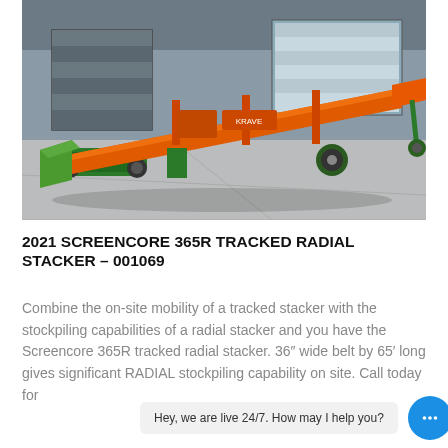[Figure (photo): A 2021 Screencore 365R tracked radial stacker machine with an orange conveyor belt frame on green tracked undercarriage, parked inside an industrial warehouse with grey metal walls and roll-up doors.]
2021 SCREENCORE 365R TRACKED RADIAL STACKER – 001069
Combine the on-site mobility of a tracked stacker with the stockpiling capabilities of a radial stacker and you have the Screencore 365R tracked radial stacker. 36" wide belt by 65' long gives significant RADIAL stockpiling capability on site. Call today for